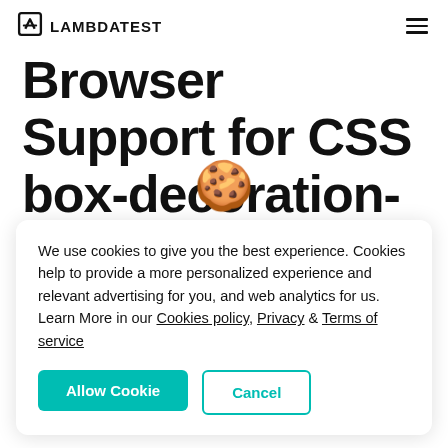LAMBDATEST
Browser Support for CSS box-decoration-break
We use cookies to give you the best experience. Cookies help to provide a more personalized experience and relevant advertising for you, and web analytics for us. Learn More in our Cookies policy, Privacy & Terms of service
Allow Cookie
Cancel